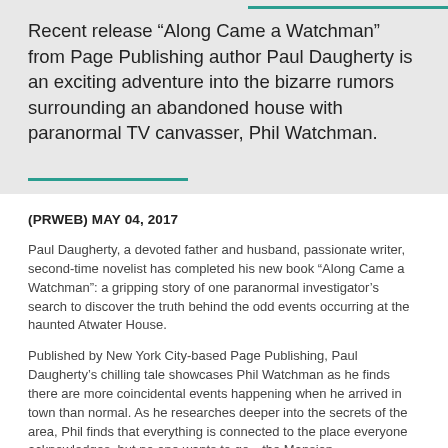Recent release "Along Came a Watchman" from Page Publishing author Paul Daugherty is an exciting adventure into the bizarre rumors surrounding an abandoned house with paranormal TV canvasser, Phil Watchman.
(PRWEB) MAY 04, 2017
Paul Daugherty, a devoted father and husband, passionate writer, second-time novelist has completed his new book “Along Came a Watchman”: a gripping story of one paranormal investigator’s search to discover the truth behind the odd events occurring at the haunted Atwater House.
Published by New York City-based Page Publishing, Paul Daugherty’s chilling tale showcases Phil Watchman as he finds there are more coincidental events happening when he arrived in town than normal. As he researches deeper into the secrets of the area, Phil finds that everything is connected to the place everyone acknowledges, but no one wants to go—the Mansion.
Set back within an old graveyard lays the Atwater Mansion, filled with strange happenings where the supernatural and everyday worlds meet. Although vehemently warned not to